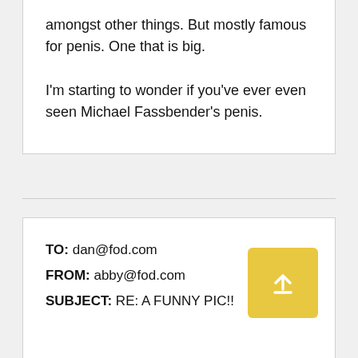amongst other things. But mostly famous for penis. One that is big.
I'm starting to wonder if you've ever even seen Michael Fassbender's penis.
TO: dan@fod.com
FROM: abby@fod.com
SUBJECT: RE: A FUNNY PIC!!
[Figure (other): Yellow square upload/share button with white upward arrow icon]